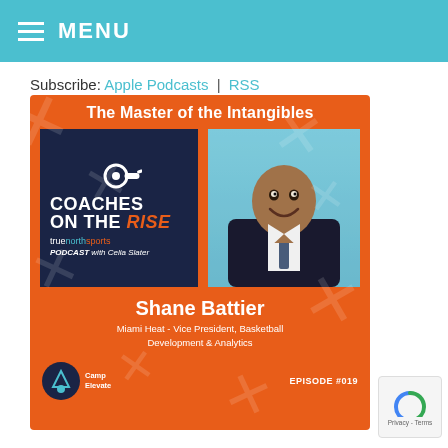MENU
Subscribe: Apple Podcasts | RSS
[Figure (infographic): Coaches on the Rise podcast episode card featuring Shane Battier, Miami Heat Vice President of Basketball Development & Analytics, Episode #019. Orange background with podcast logo on dark navy left panel and headshot of Shane Battier on right. Title reads 'The Master of the Intangibles'. TrueNorthSports Podcast with Celia Slater.]
Privacy - Terms